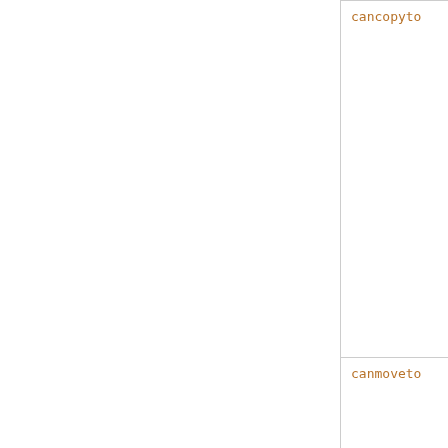| Key | Description |
| --- | --- |
| cancopyto | copied to are excluded. Specifically, excluded are read-only webs and mirror webs. |
| canmoveto | similar to cancopyto, but webs to which a topic of the current web cannot be moved to are excluded. Specifically, excluded are webs residing on different disks from the current web. |